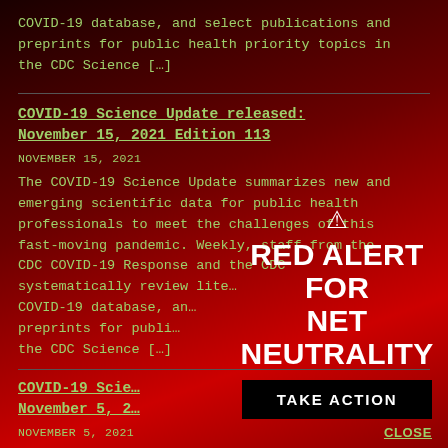COVID-19 database, and select publications and preprints for public health priority topics in the CDC Science […]
COVID-19 Science Update released: November 15, 2021 Edition 113
NOVEMBER 15, 2021
The COVID-19 Science Update summarizes new and emerging scientific data for public health professionals to meet the challenges of this fast-moving pandemic. Weekly, staff from the CDC COVID-19 Response and the CDC systematically review liter… COVID-19 database, an… preprints for publi… the CDC Science […]
[Figure (infographic): Red Alert for Net Neutrality overlay with warning triangle icon, bold white text 'RED ALERT FOR NET NEUTRALITY', a black 'TAKE ACTION' button, and a 'CLOSE' link in green]
COVID-19 Scie… November 5, 2…
NOVEMBER 5, 2021
The COVID-19 S…